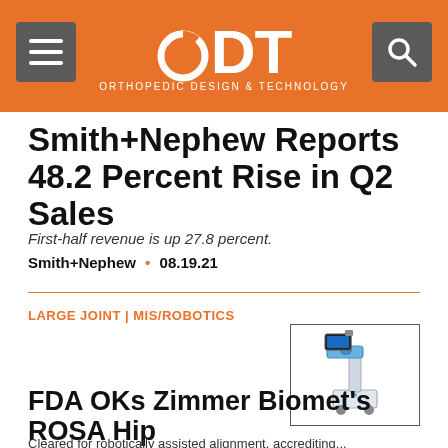ODT — Orthopedic Design & Technology
Smith+Nephew Reports 48.2 Percent Rise in Q2 Sales
First-half revenue is up 27.8 percent.
Smith+Nephew • 08.19.21
LARGE JOINT | MIS/ROBOTICS
[Figure (photo): Surgical robotic arm device on a wheeled cart, white and blue colored]
FDA OKs Zimmer Biomet's ROSA Hip
Cleared for robotically assisted alignment, accrediting...